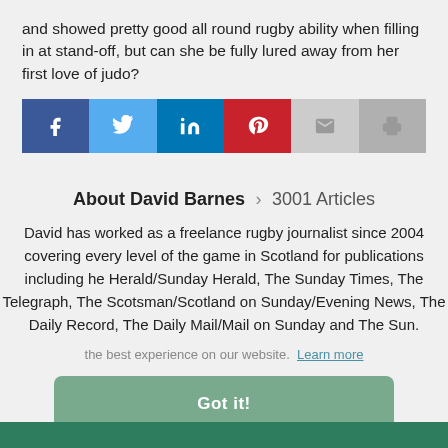and showed pretty good all round rugby ability when filling in at stand-off, but can she be fully lured away from her first love of judo?
[Figure (infographic): Social share buttons: Facebook (blue), Twitter (light blue), LinkedIn (dark blue), Pinterest (red), Email (light grey), Print (grey)]
About David Barnes > 3001 Articles
David has worked as a freelance rugby journalist since 2004 covering every level of the game in Scotland for publications including he Herald/Sunday Herald, The Sunday Times, The Telegraph, The Scotsman/Scotland on Sunday/Evening News, The Daily Record, The Daily Mail/Mail on Sunday and The Sun.
the best experience on our website. Learn more
Got it!